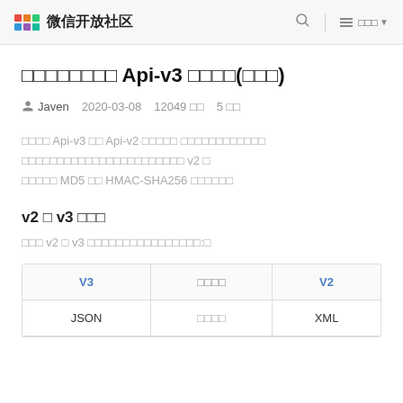微信开放社区
□□□□□□□□ Api-v3 □□□□(□□□)
Javen   2020-03-08   12049 □□   5 □□
□□□□ Api-v3 □□ Api-v2 □□□□□ □□□□□□□□□□□□ □□□□□□□□□□□□□□□□□□□□□□□ v2 □ □□□□□ MD5 □□ HMAC-SHA256 □□□□□□
v2 □ v3 □□□
□□□ v2 □ v3 □□□□□□□□□□□□□□□□:□
| V3 | □□□□ | V2 |
| --- | --- | --- |
| JSON | □□□□ | XML |